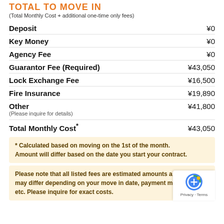TOTAL TO MOVE IN
(Total Monthly Cost + additional one-time only fees)
| Item | Amount |
| --- | --- |
| Deposit | ¥0 |
| Key Money | ¥0 |
| Agency Fee | ¥0 |
| Guarantor Fee (Required) | ¥43,050 |
| Lock Exchange Fee | ¥16,500 |
| Fire Insurance | ¥19,890 |
| Other | ¥41,800 |
| Total Monthly Cost* | ¥43,050 |
(Please inquire for details)
* Calculated based on moving on the 1st of the month. Amount will differ based on the date you start your contract.
Please note that all listed fees are estimated amounts and may differ depending on your move in date, payment method, etc. Please inquire for exact costs.